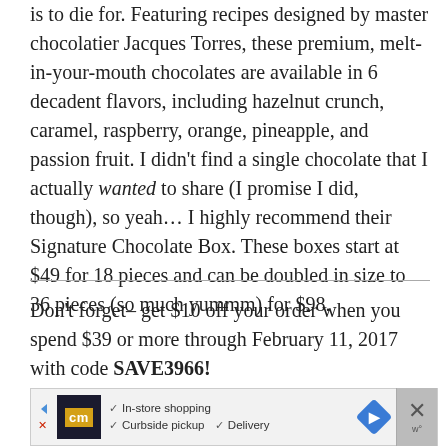is to die for. Featuring recipes designed by master chocolatier Jacques Torres, these premium, melt-in-your-mouth chocolates are available in 6 decadent flavors, including hazelnut crunch, caramel, raspberry, orange, pineapple, and passion fruit. I didn't find a single chocolate that I actually wanted to share (I promise I did, though), so yeah… I highly recommend their Signature Chocolate Box. These boxes start at $49 for 18 pieces and can be doubled in size to 36 pieces (so much yummm) for $98.
Don't forget– get $10 off your order when you spend $39 or more through February 11, 2017 with code SAVE3966!
[Figure (other): Advertisement banner with CM logo, checkmarks for In-store shopping, Curbside pickup, Delivery, a blue diamond navigation icon, and a close button with X and W symbols.]